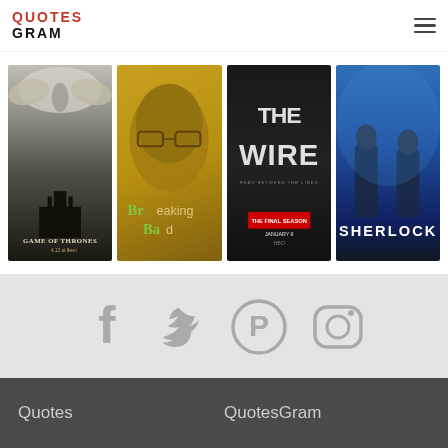QuotesGram
[Figure (photo): Four TV show posters: Game of Thrones, Breaking Bad, The Wire, Sherlock]
[Figure (infographic): Social media icons: Facebook, Twitter, Pinterest, Instagram in grey]
Quotes   QuotesGram